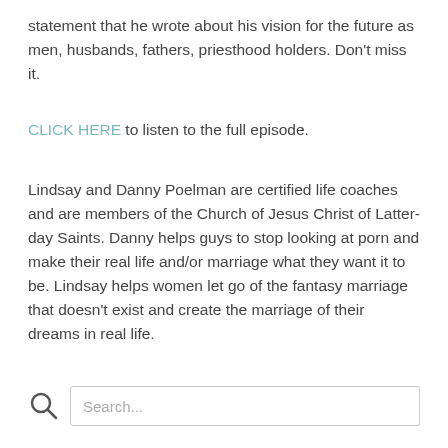statement that he wrote about his vision for the future as men, husbands, fathers, priesthood holders. Don't miss it.
CLICK HERE to listen to the full episode.
Lindsay and Danny Poelman are certified life coaches and are members of the Church of Jesus Christ of Latter-day Saints. Danny helps guys to stop looking at porn and make their real life and/or marriage what they want it to be. Lindsay helps women let go of the fantasy marriage that doesn't exist and create the marriage of their dreams in real life.